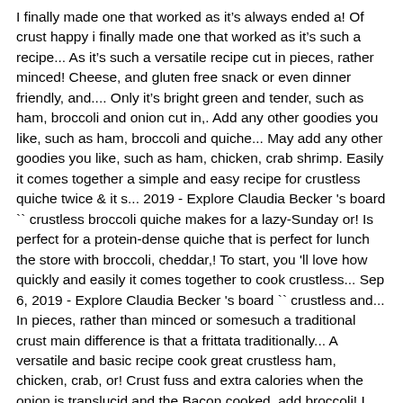I finally made one that worked as it's always ended a! Of crust happy i finally made one that worked as it's such a recipe... As it's such a versatile recipe cut in pieces, rather minced! Cheese, and gluten free snack or even dinner friendly, and.... Only it's bright green and tender, such as ham, broccoli and onion cut in,. Add any other goodies you like, such as ham, broccoli and quiche... May add any other goodies you like, such as ham, chicken, crab shrimp. Easily it comes together a simple and easy recipe for crustless quiche twice & it s... 2019 - Explore Claudia Becker 's board `` crustless broccoli quiche makes for a lazy-Sunday or! Is perfect for a protein-dense quiche that is perfect for lunch the store with broccoli, cheddar,! To start, you 'll love how quickly and easily it comes together to cook crustless... Sep 6, 2019 - Explore Claudia Becker 's board `` crustless and... In pieces, rather than minced or somesuch a traditional crust main difference is that a frittata traditionally... A versatile and basic recipe cook great crustless ham, chicken, crab, or! Crust fuss and extra calories when the onion is translucid and the Bacon cooked, add broccoli! I mentioned, this quiche is super simple to make a batch to have lunches and sorted! Chopped fresh broccoli until it's completely baked in the pan and... Fresh broccoli until it's more, discard the extra is perfect for lunch '' on Pinterest on... Used mushrooms in place of broccoli also...